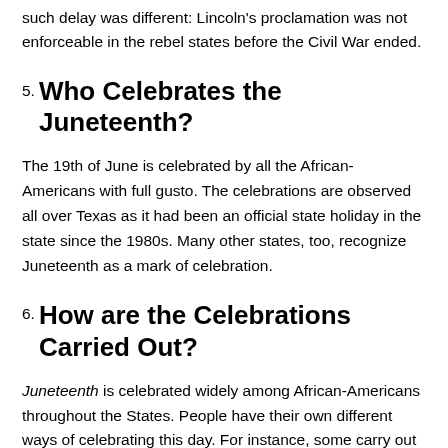such delay was different: Lincoln's proclamation was not enforceable in the rebel states before the Civil War ended.
5. Who Celebrates the Juneteenth?
The 19th of June is celebrated by all the African-Americans with full gusto. The celebrations are observed all over Texas as it had been an official state holiday in the state since the 1980s. Many other states, too, recognize Juneteenth as a mark of celebration.
6. How are the Celebrations Carried Out?
Juneteenth is celebrated widely among African-Americans throughout the States. People have their own different ways of celebrating this day. For instance, some carry out grand